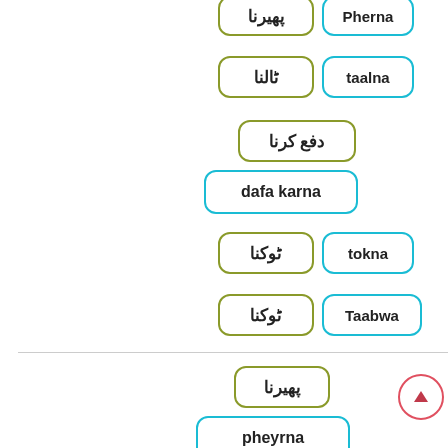[Figure (other): Urdu-English vocabulary flashcard pairs arranged in a vertical list. Top section: پھیرنا/Pherna, ٹالنا/taalna, دفع کرنا (single), dafa karna (single wider), ٹوکنا/tokna, ٹوکنا/Taabwa. Horizontal divider. Bottom section: پھیرنا (single), pheyrna (single wider), پھیرنا/Phairna. Scroll-to-top button bottom right.]